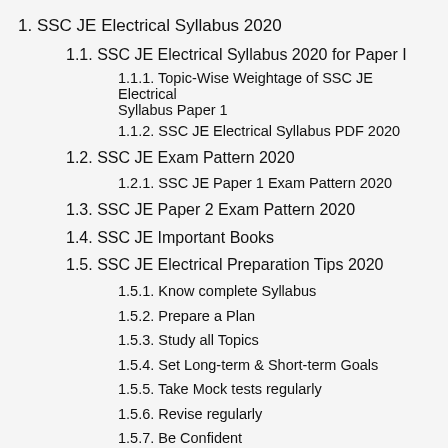1. SSC JE Electrical Syllabus 2020
1.1. SSC JE Electrical Syllabus 2020 for Paper I
1.1.1. Topic-Wise Weightage of SSC JE Electrical Syllabus Paper 1
1.1.2. SSC JE Electrical Syllabus PDF 2020
1.2. SSC JE Exam Pattern 2020
1.2.1. SSC JE Paper 1 Exam Pattern 2020
1.3. SSC JE Paper 2 Exam Pattern 2020
1.4. SSC JE Important Books
1.5. SSC JE Electrical Preparation Tips 2020
1.5.1. Know complete Syllabus
1.5.2. Prepare a Plan
1.5.3. Study all Topics
1.5.4. Set Long-term & Short-term Goals
1.5.5. Take Mock tests regularly
1.5.6. Revise regularly
1.5.7. Be Confident
1.6. SSC JE Electrical Syllabus FAQs